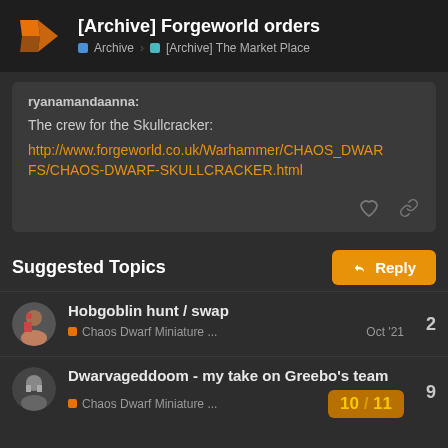[Archive] Forgeworld orders — Archive > [Archive] The Market Place
ryanamandaanna:
The crew for the Skullcracker:
http://www.forgeworld.co.uk/Warhammer/CHAOS_DWARFS/CHAOS-DWARF-SKULLCRACKER.html
Suggested Topics
Hobgoblin hunt / swap
Chaos Dwarf Miniature ...
Oct '21
2
Dwarvageddoom - my take on Greebo's team
Chaos Dwarf Miniature ...
9
10 / 11